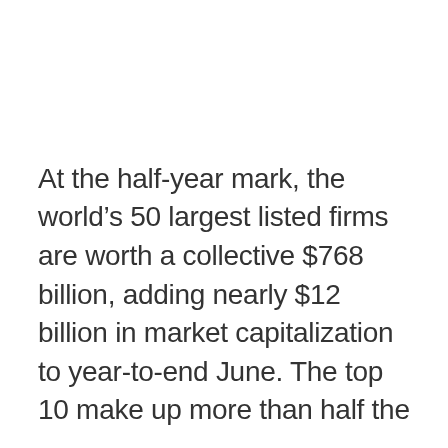At the half-year mark, the world’s 50 largest listed firms are worth a collective $768 billion, adding nearly $12 billion in market capitalization to year-to-end June. The top 10 make up more than half the